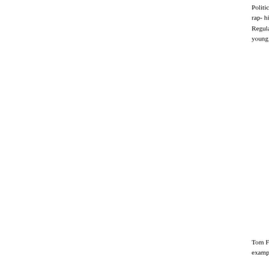Politics operates on the desire for immediate gratific- tsunami that washed over the country since Reaga- union-thrashing Margaret Thatcher), the full-bore rap- hired officials both dismantled numerous governme- this day, incompletely understood by the public. Whe- the TV commercial goes: there's more! Regulations ignored, from Oliver North's funding the Contras to t- administration, when big things were done secretive- self-serving—most infamously, young Monica Goodl- hirings dependent on their politics.
Tom Frank approaches this widespread Disneyland- Throughout his writings he enjoys looking back to co- instruction to contemporary polemicists. For exampl- American Family," by one Susan Dudley. With its titl- "One Day in the Life of Ivan Denisovich," Dudley's p- government.
It regulates the radio stations, inspects our food, fido- employees, and it might," Frank continues, "just decl- "Each of these examples is meant to terrify, and whe- sticks in an extra sentence establishing its awfulnes- to this joke? "A few years after excreting this thing, S- It is as if Disney's film of, say, "Sleeping Beauty" wer- into the princess.
Frank's reconstruction of how conservatives spent y- liberalism—one of the most influential, Grover Norqu- compared conservatives' approach to consolidating alternative-universe novels where everything is no-